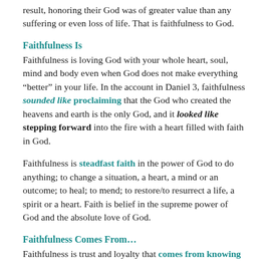result, honoring their God was of greater value than any suffering or even loss of life. That is faithfulness to God.
Faithfulness Is
Faithfulness is loving God with your whole heart, soul, mind and body even when God does not make everything “better” in your life. In the account in Daniel 3, faithfulness sounded like proclaiming that the God who created the heavens and earth is the only God, and it looked like stepping forward into the fire with a heart filled with faith in God.
Faithfulness is steadfast faith in the power of God to do anything; to change a situation, a heart, a mind or an outcome; to heal; to mend; to restore/to resurrect a life, a spirit or a heart. Faith is belief in the supreme power of God and the absolute love of God.
Faithfulness Comes From…
Faithfulness is trust and loyalty that comes from knowing